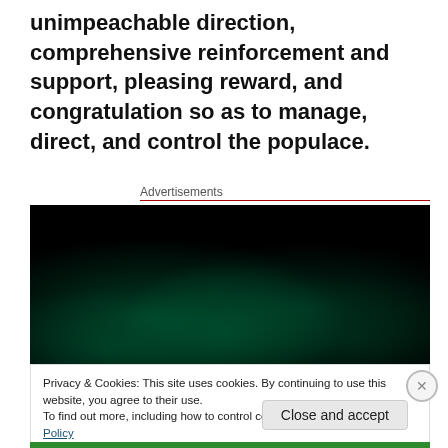unimpeachable direction, comprehensive reinforcement and support, pleasing reward, and congratulation so as to manage, direct, and control the populace.
Advertisements
[Figure (photo): Dark advertisement image with faint green-tinted cityscape or landscape silhouette against a black background]
Privacy & Cookies: This site uses cookies. By continuing to use this website, you agree to their use.
To find out more, including how to control cookies, see here: Cookie Policy
Close and accept